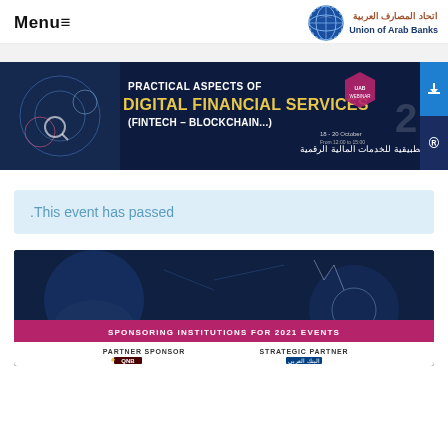Menu≡   Union of Arab Banks
[Figure (illustration): Banner for 'Practical Aspects of Digital Financial Services (Fintech – Blockchain...)' event with Arabic subtitle, showing digital technology background, UAB Webinar badge, date 18-20 October, with download and registration buttons on the right side.]
.This event has passed
[Figure (illustration): Bottom banner image with dark blue digital background showing 'SPONSORING INSTITUTIONS FOR 2021 EVENTS' in a pink/magenta bar, and below showing 'PARTNER SPONSOR' with QNB logo and 'STRATEGIC PARTNER' with Arab bank logo.]